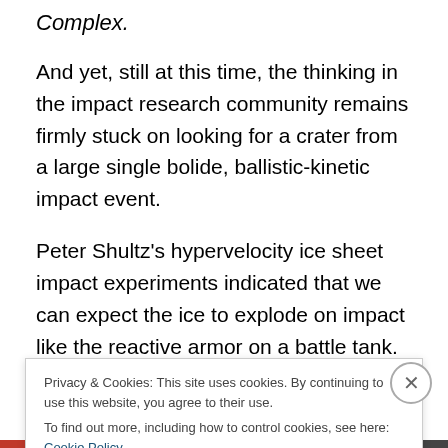Complex.
And yet, still at this time, the thinking in the impact research community remains firmly stuck on looking for a crater from a large single bolide, ballistic-kinetic impact event.
Peter Shultz's hypervelocity ice sheet impact experiments indicated that we can expect the ice to explode on impact like the reactive armor on a battle tank. So we don't necessarily expect to find any shocked minerals. Because all of the kinetic energy gets translated to heat. In fact, we
Privacy & Cookies: This site uses cookies. By continuing to use this website, you agree to their use. To find out more, including how to control cookies, see here: Cookie Policy
Close and accept